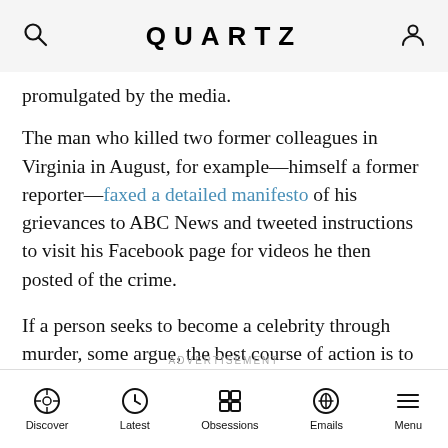QUARTZ
promulgated by the media.
The man who killed two former colleagues in Virginia in August, for example—himself a former reporter—faxed a detailed manifesto of his grievances to ABC News and tweeted instructions to visit his Facebook page for videos he then posted of the crime.
If a person seeks to become a celebrity through murder, some argue, the best course of action is to deny them that attention. Don't publish killers' manifestos or suicide notes. Unless a suspect is at large, withhold, minimize, or delay publication of shooters' names and images.
Discover | Latest | Obsessions | Emails | Menu